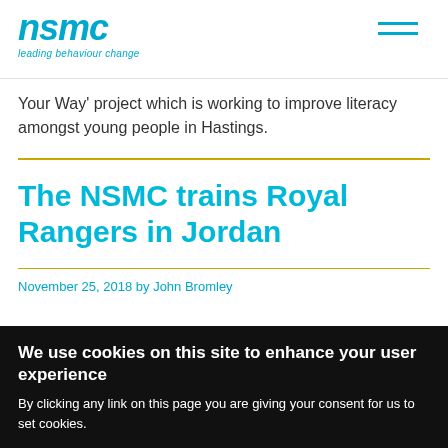[Figure (logo): NSMC logo with text 'nsmc' in teal italic font and tagline 'leading behaviour change']
Your Way' project which is working to improve literacy amongst young people in Hastings.
The NSMC trains Royal Rangers in Jordan
November 25, 2018 by John Bromley
We use cookies on this site to enhance your user experience

By clicking any link on this page you are giving your consent for us to set cookies.